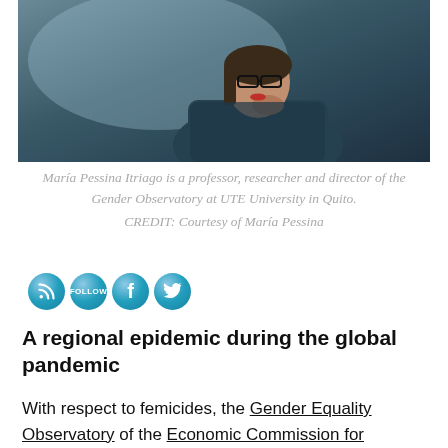[Figure (photo): A woman with glasses wearing a denim jacket, seated, resting her chin on her hand thoughtfully, with a teal/dark background.]
María Pessina Itriago is a professor, researcher and director of the Gender Observatory at UTE University in Quito. CREDIT: Courtesy of María Pessina
A regional epidemic during the global pandemic
With respect to femicides, the Gender Equality Observatory of the Economic Commission for